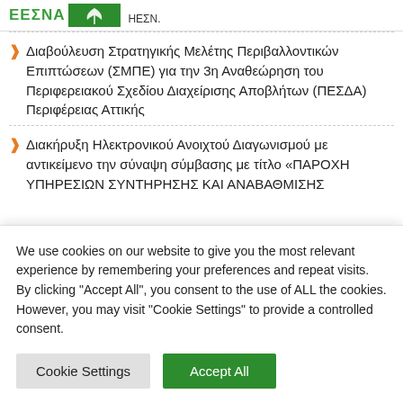ΕΕΣΝΑ
Διαβούλευση Στρατηγικής Μελέτης Περιβαλλοντικών Επιπτώσεων (ΣΜΠΕ) για την 3η Αναθεώρηση του Περιφερειακού Σχεδίου Διαχείρισης Αποβλήτων (ΠΕΣΔΑ) Περιφέρειας Αττικής
Διακήρυξη Ηλεκτρονικού Ανοιχτού Διαγωνισμού με αντικείμενο την σύναψη σύμβασης με τίτλο «ΠΑΡΟΧΗ ΥΠΗΡΕΣΙΩΝ ΣΥΝΤΗΡΗΣΗΣ ΚΑΙ ΑΝΑΒΑΘΜΙΣΗΣ
We use cookies on our website to give you the most relevant experience by remembering your preferences and repeat visits. By clicking "Accept All", you consent to the use of ALL the cookies. However, you may visit "Cookie Settings" to provide a controlled consent.
Cookie Settings | Accept All